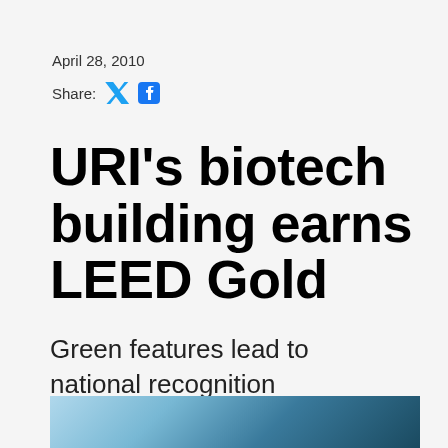April 28, 2010
Share:
URI's biotech building earns LEED Gold
Green features lead to national recognition
[Figure (photo): Partial view of a building exterior with blue sky and trees, cropped at bottom of page]